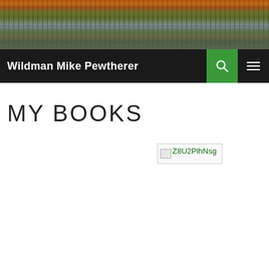[Figure (photo): Autumn forest scene with bare tree trunks reflected in water, colorful foliage in background]
Wildman Mike Pewtherer
MY BOOKS
[Figure (other): Broken image placeholder labeled Z8U2PlhNsg]